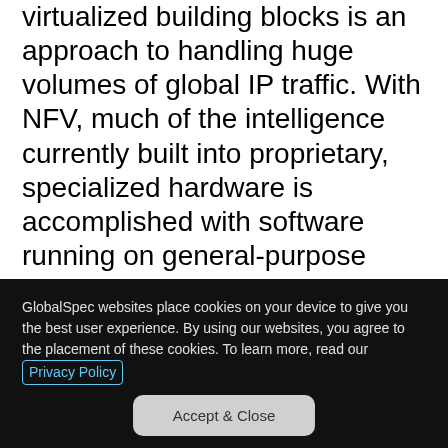virtualized building blocks is an approach to handling huge volumes of global IP traffic. With NFV, much of the intelligence currently built into proprietary, specialized hardware is accomplished with software running on general-purpose hardware. NFV has previously been performed on x86 based servers and AMD is claiming that it has the first NFV running on 64-bit ARM architecture. AMD worked with two partners on the demo: Aricent Inc. (Redwood
GlobalSpec websites place cookies on your device to give you the best user experience. By using our websites, you agree to the placement of these cookies. To learn more, read our Privacy Policy
Accept & Close